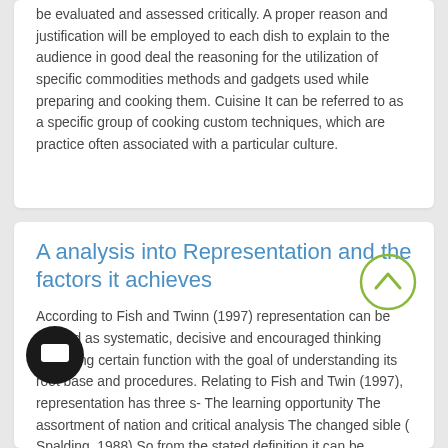be evaluated and assessed critically. A proper reason and justification will be employed to each dish to explain to the audience in good deal the reasoning for the utilization of specific commodities methods and gadgets used while preparing and cooking them. Cuisine It can be referred to as a specific group of cooking custom techniques, which are practice often associated with a particular culture.
A analysis into Representation and the factors it achieves
According to Fish and Twinn (1997) representation can be defined as systematic, decisive and encouraged thinking regarding certain function with the goal of understanding its root base and procedures. Relating to Fish and Twin (1997), representation has three s- The learning opportunity The assortment of nation and critical analysis The changed sible ( Spalding, 1988) So from the stated definition it can be presumed that representation is a regular